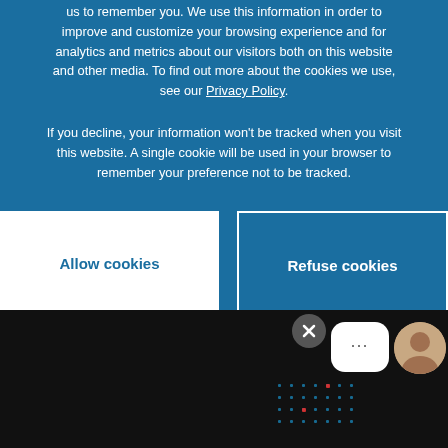us to remember you. We use this information in order to improve and customize your browsing experience and for analytics and metrics about our visitors both on this website and other media. To find out more about the cookies we use, see our Privacy Policy.
If you decline, your information won't be tracked when you visit this website. A single cookie will be used in your browser to remember your preference not to be tracked.
[Figure (other): Two buttons: 'Allow cookies' (white background) and 'Refuse cookies' (dark blue background with white border)]
[Figure (logo): IR Media logo: white circle with stylized 'ir' text and colored dots]
Written by IR Media
info@ir.com
[Figure (other): Chat widget with close button (X), chat bubble with ellipsis, and avatar of a person]